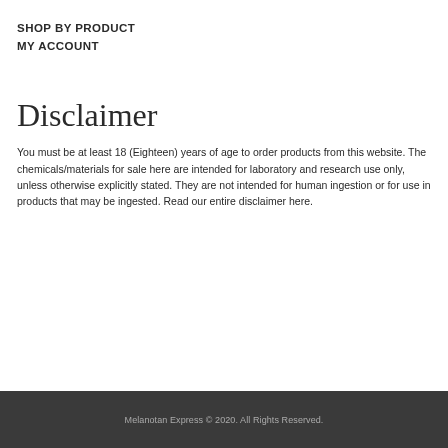SHOP BY PRODUCT
MY ACCOUNT
Disclaimer
You must be at least 18 (Eighteen) years of age to order products from this website. The chemicals/materials for sale here are intended for laboratory and research use only, unless otherwise explicitly stated. They are not intended for human ingestion or for use in products that may be ingested. Read our entire disclaimer here.
Melanotan Express © 2020. All Rights Reserved.